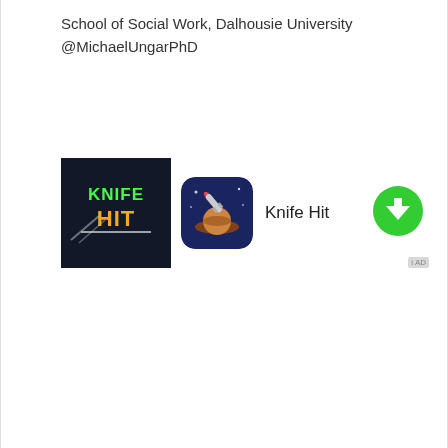School of Social Work, Dalhousie University
@MichaelUngarPhD
[Figure (screenshot): Advertisement banner for 'Knife Hit' mobile game, showing a dark banner image with 'KNIFE HIT' text in green and yellow, a circular app icon with a rocket/knife graphic, the app name 'Knife Hit', a green download button with down arrow, and an 'AD' label.]